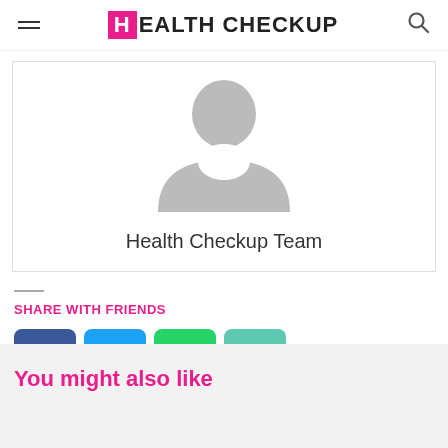HEALTH CHECKUP
[Figure (illustration): Default user avatar placeholder image showing a silhouette of a person (grey) inside a white rounded frame, within a bordered card]
Health Checkup Team
SHARE WITH FRIENDS
[Figure (infographic): Four social share buttons: Facebook (blue), Twitter (light blue), WhatsApp (green), Email (teal)]
You might also like